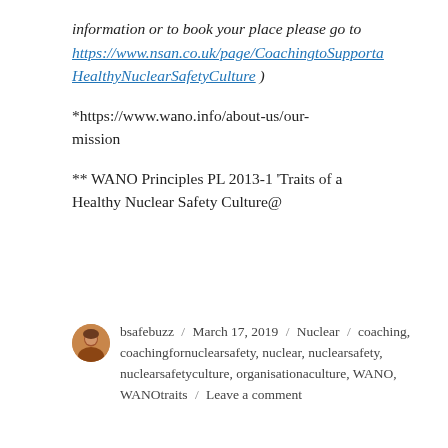information or to book your place please go to https://www.nsan.co.uk/page/CoachingtoSupportaHealthyNuclearSafetyCulture )
*https://www.wano.info/about-us/our-mission
** WANO Principles PL 2013-1 ‘Traits of a Healthy Nuclear Safety Culture@
bsafebuzz / March 17, 2019 / Nuclear / coaching, coachingfornuclearsafety, nuclear, nuclearsafety, nuclearsafetyculture, organisationaculture, WANO, WANOtraits / Leave a comment